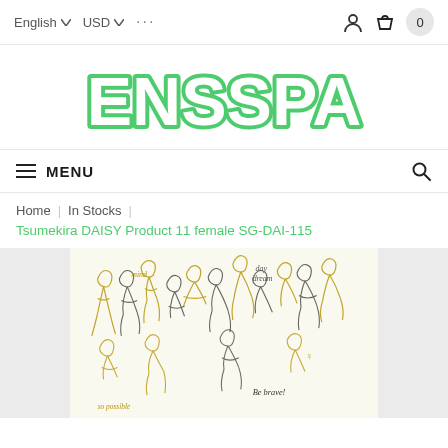English ▾  USD ▾  ···  [user icon]  [basket icon] 0
[Figure (logo): ENSSPA logo in bold green bubble letters with white fill and green outline/stroke]
≡ MENU  [search icon]
Home  |  In Stocks  |
Tsumekira DAISY Product 11 female SG-DAI-115
[Figure (photo): Product sheet showing nail art stickers with outline drawings of female figures in various poses, with text elements including 'mind', 'day dream', 'Be brave!' in gold and black ink on a cream background]